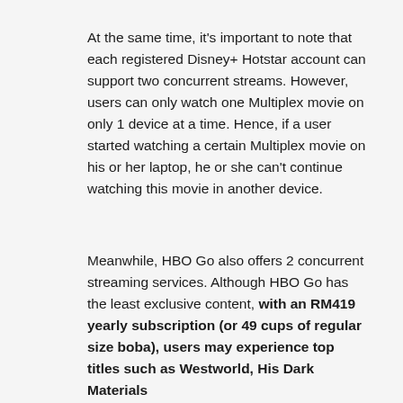At the same time, it's important to note that each registered Disney+ Hotstar account can support two concurrent streams. However, users can only watch one Multiplex movie on only 1 device at a time. Hence, if a user started watching a certain Multiplex movie on his or her laptop, he or she can't continue watching this movie in another device.
Meanwhile, HBO Go also offers 2 concurrent streaming services. Although HBO Go has the least exclusive content, with an RM419 yearly subscription (or 49 cups of regular size boba), users may experience top titles such as Westworld, His Dark Materials